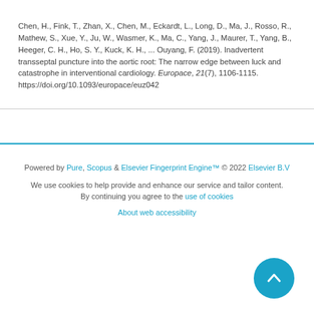Chen, H., Fink, T., Zhan, X., Chen, M., Eckardt, L., Long, D., Ma, J., Rosso, R., Mathew, S., Xue, Y., Ju, W., Wasmer, K., Ma, C., Yang, J., Maurer, T., Yang, B., Heeger, C. H., Ho, S. Y., Kuck, K. H., ... Ouyang, F. (2019). Inadvertent transseptal puncture into the aortic root: The narrow edge between luck and catastrophe in interventional cardiology. Europace, 21(7), 1106-1115. https://doi.org/10.1093/europace/euz042
Powered by Pure, Scopus & Elsevier Fingerprint Engine™ © 2022 Elsevier B.V
We use cookies to help provide and enhance our service and tailor content. By continuing you agree to the use of cookies
About web accessibility